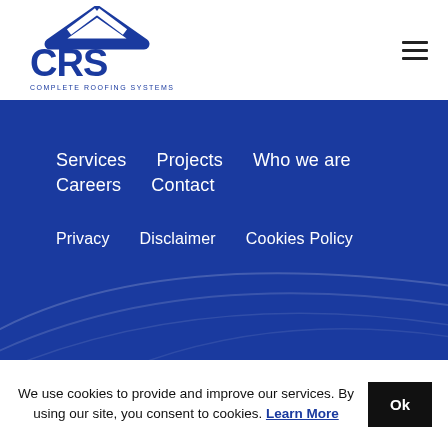[Figure (logo): CRS Complete Roofing Systems Ltd blue logo with roof shape above letters CRS]
[Figure (illustration): Hamburger menu icon (three horizontal lines)]
[Figure (illustration): Blue background section with decorative arc/swirl curves and navigation menu]
Services
Projects
Who we are
Careers
Contact
Privacy
Disclaimer
Cookies Policy
We use cookies to provide and improve our services. By using our site, you consent to cookies. Learn More  Ok